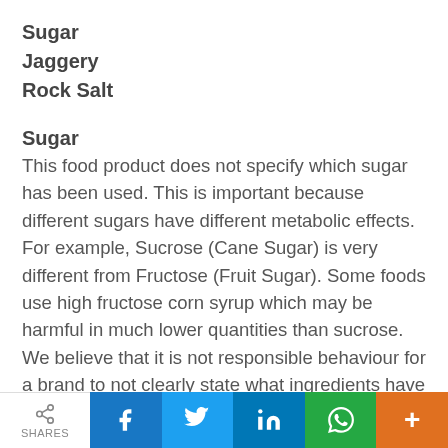Sugar
Jaggery
Rock Salt
Sugar
This food product does not specify which sugar has been used. This is important because different sugars have different metabolic effects. For example, Sucrose (Cane Sugar) is very different from Fructose (Fruit Sugar). Some foods use high fructose corn syrup which may be harmful in much lower quantities than sucrose.  We believe that it is not responsible behaviour for a brand to not clearly state what ingredients have been used.